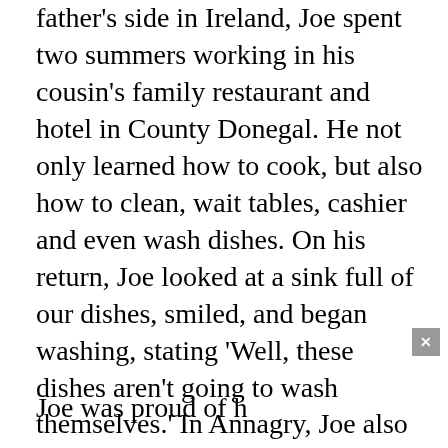father's side in Ireland, Joe spent two summers working in his cousin's family restaurant and hotel in County Donegal. He not only learned how to cook, but also how to clean, wait tables, cashier and even wash dishes. On his return, Joe looked at a sink full of our dishes, smiled, and began washing, stating 'Well, these dishes aren't going to wash themselves.' In Annagry, Joe also learned the finer points of Irish ales and Irish culture.
[Figure (screenshot): A black video player overlay with a loading circle spinner in the center and a yellow 'CARES' label in top left. A grey close (x) button appears at the top right corner of the overlay.]
Joe was proud of h... Coeur d'Alene Trib... fry bread and pow-... beautiful pow-wow pictures. He loved